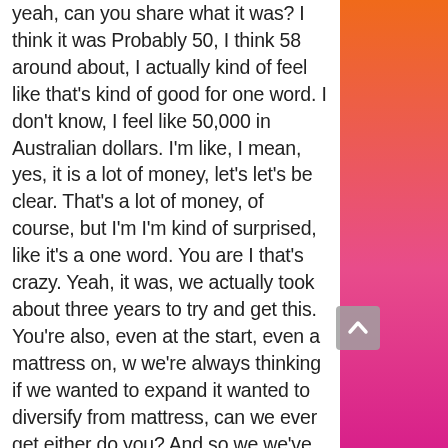yeah, can you share what it was? I think it was Probably 50, I think 58 around about, I actually kind of feel like that's kind of good for one word. I don't know, I feel like 50,000 in Australian dollars. I'm like, I mean, yes, it is a lot of money, let's let's be clear. That's a lot of money, of course, but I'm I'm kind of surprised, like it's a one word. You are I that's crazy. Yeah, it was, we actually took about three years to try and get this. You're also, even at the start, even a mattress on, w we're always thinking if we wanted to expand it wanted to diversify from mattress, can we ever get either do you? And so we we've always been looking and then we got I think we started the process a couple of years ago. Um it was much too high then, and